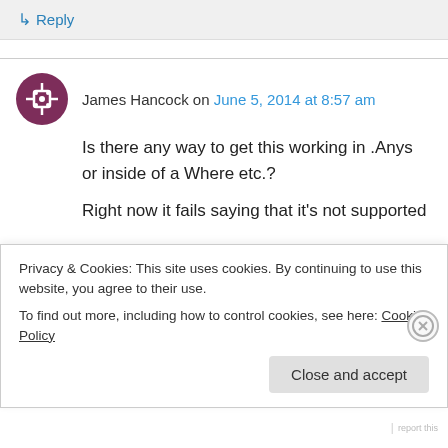↳ Reply
James Hancock on June 5, 2014 at 8:57 am
Is there any way to get this working in .Anys or inside of a Where etc.?
Right now it fails saying that it's not supported
Privacy & Cookies: This site uses cookies. By continuing to use this website, you agree to their use.
To find out more, including how to control cookies, see here: Cookie Policy
Close and accept